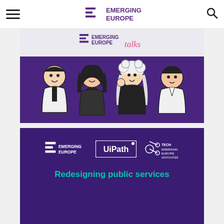Emerging Europe - navigation header with logo, hamburger menu, and search icon
[Figure (illustration): Emerging Europe Talks banner: top section shows 'EMERGING EUROPE talks' logo on light background; bottom purple section shows four illustrated cartoon characters (young people: a boy, a girl with dark hair, a blonde girl, and a boy with dark hair) on purple background]
[Figure (illustration): Event banner on dark purple background: logos for Emerging Europe, UiPath, and Tech Emerging Europe Advocates; text 'Redesigning public services' in teal/cyan color]